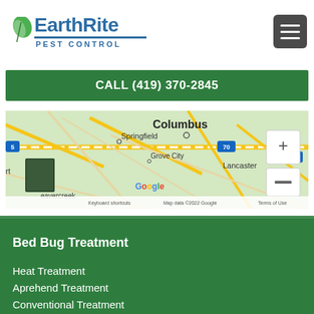[Figure (logo): EarthRite Pest Control logo with green leaf icon and blue text]
CALL (419) 370-2845
[Figure (map): Google Maps screenshot showing Columbus Ohio area including Springfield, Grove City, Lancaster, Beavercreek, with zoom controls and attribution bar]
Bed Bug Treatment
Heat Treatment
Aprehend Treatment
Conventional Treatment